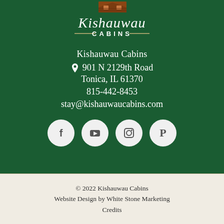[Figure (logo): Kishauwau Cabins logo with script lettering and cabin illustration on dark green background]
Kishauwau Cabins
901 N 2129th Road
Tonica, IL 61370
815-442-8453
stay@kishauwaucabins.com
[Figure (illustration): Four social media icons: Facebook, YouTube, Instagram, Pinterest — white circles on dark green background]
© 2022 Kishauwau Cabins
Website Design by White Stone Marketing
Credits